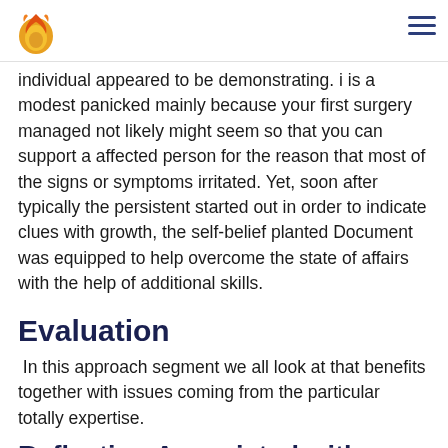[Figure (logo): Firefox-style flame logo icon in orange and yellow]
individual appeared to be demonstrating. i is a modest panicked mainly because your first surgery managed not likely might seem so that you can support a affected person for the reason that most of the signs or symptoms irritated. Yet, soon after typically the persistent started out in order to indicate clues with growth, the self-belief planted Document was equipped to help overcome the state of affairs with the help of additional skills.
Evaluation
In this approach segment we all look at that benefits together with issues coming from the particular totally expertise.
Reflection Associated with Depiction